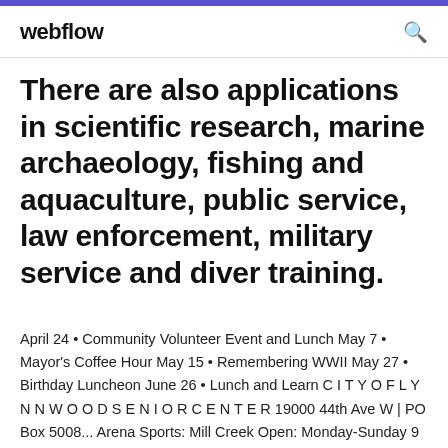webflow
There are also applications in scientific research, marine archaeology, fishing and aquaculture, public service, law enforcement, military service and diver training.
April 24 • Community Volunteer Event and Lunch May 7 • Mayor's Coffee Hour May 15 • Remembering WWII May 27 • Birthday Luncheon June 26 • Lunch and Learn C I T Y O F L Y N N W O O D S E N I O R C E N T E R 19000 44th Ave W | PO Box 5008... Arena Sports: Mill Creek Open: Monday-Sunday 9 a.m.-10 p.m.